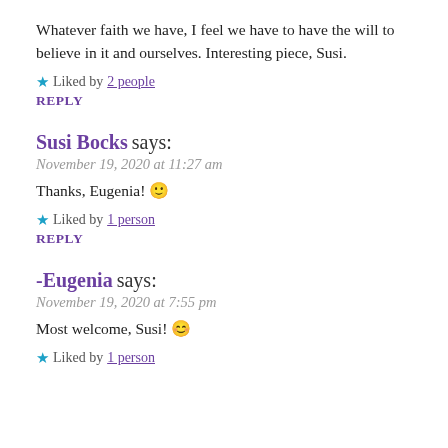Whatever faith we have, I feel we have to have the will to believe in it and ourselves. Interesting piece, Susi.
★ Liked by 2 people
REPLY
Susi Bocks says:
November 19, 2020 at 11:27 am
Thanks, Eugenia! 🙂
★ Liked by 1 person
REPLY
-Eugenia says:
November 19, 2020 at 7:55 pm
Most welcome, Susi! 😊
★ Liked by 1 person